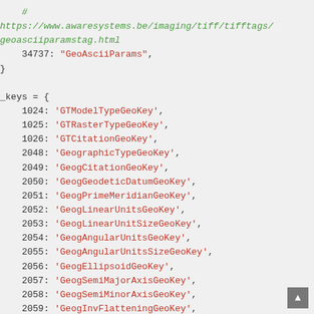# https://www.awaresystems.be/imaging/tiff/tifftags/geoasciiparamstag.html
    34737: "GeoAsciiParams",
}

_keys = {
    1024: 'GTModelTypeGeoKey',
    1025: 'GTRasterTypeGeoKey',
    1026: 'GTCitationGeoKey',
    2048: 'GeographicTypeGeoKey',
    2049: 'GeogCitationGeoKey',
    2050: 'GeogGeodeticDatumGeoKey',
    2051: 'GeogPrimeMeridianGeoKey',
    2052: 'GeogLinearUnitsGeoKey',
    2053: 'GeogLinearUnitSizeGeoKey',
    2054: 'GeogAngularUnitsGeoKey',
    2055: 'GeogAngularUnitsSizeGeoKey',
    2056: 'GeogEllipsoidGeoKey',
    2057: 'GeogSemiMajorAxisGeoKey',
    2058: 'GeogSemiMinorAxisGeoKey',
    2059: 'GeogInvFlatteningGeoKey',
    2060: 'GeogAzimuthUnitsGeoKey',
    2061: 'GeogPrimeMeridianLongGeoKey',
    2062: 'GeogTOWGS84GeoKey',
    2059: 'ProjLinearUnitsInterpCorrectGeoKey',